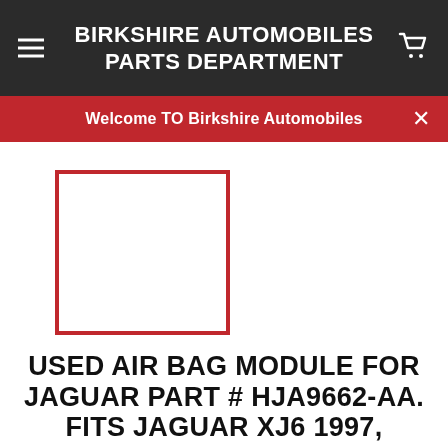BIRKSHIRE AUTOMOBILES PARTS DEPARTMENT
Welcome TO Birkshire Automobiles
[Figure (photo): Empty product image placeholder with red border]
USED AIR BAG MODULE FOR JAGUAR PART # HJA9662-AA. FITS JAGUAR XJ6 1997, JAGUAR XJ8, XJR